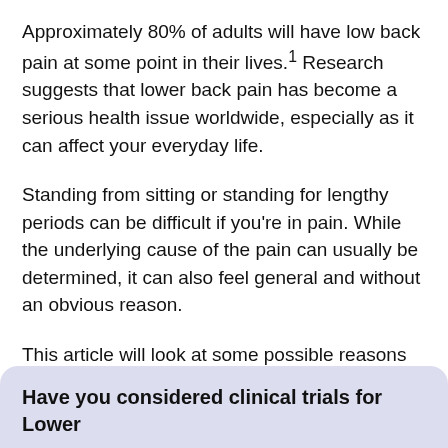Approximately 80% of adults will have low back pain at some point in their lives.¹ Research suggests that lower back pain has become a serious health issue worldwide, especially as it can affect your everyday life.
Standing from sitting or standing for lengthy periods can be difficult if you're in pain. While the underlying cause of the pain can usually be determined, it can also feel general and without an obvious reason.
This article will look at some possible reasons for lower back pain when standing from a seated position. We also discuss preventative measures and when to see a doctor.
Have you considered clinical trials for Lower